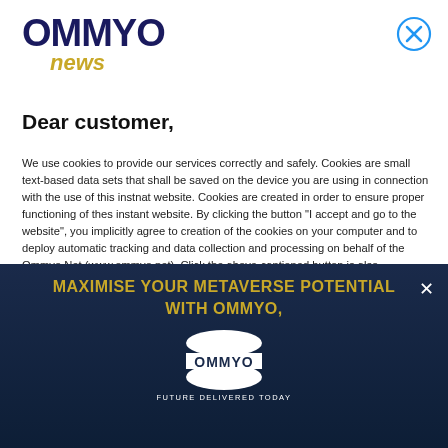[Figure (logo): OMMYO news logo — OMMYO in dark navy bold uppercase with 'news' in gold italic below]
[Figure (other): Circle with X close button icon in blue outline, top right]
Dear customer,
We use cookies to provide our services correctly and safely. Cookies are small text-based data sets that shall be saved on the device you are using in connection with the use of this instnat website. Cookies are created in order to ensure proper functioning of thes instant website. By clicking the button "I accept and go to the website", you implicitly agree to creation of the cookies on your computer and to deploy automatic tracking and data collection and processing on behalf of the Ommyo.Net (www.ommyo.net). Click the above-captioned button is also tantamount to accepting website's privacy policy. Closing the notification by means of "X" is unequivocally connected with your consent. If you do not agree to any of the above,
[Figure (infographic): Dark navy banner with gold text 'MAXIMISE YOUR METAVERSE POTENTIAL WITH OMMYO,' and white OMMYO logo with tagline 'FUTURE DELIVERED TODAY' and white X close icon]